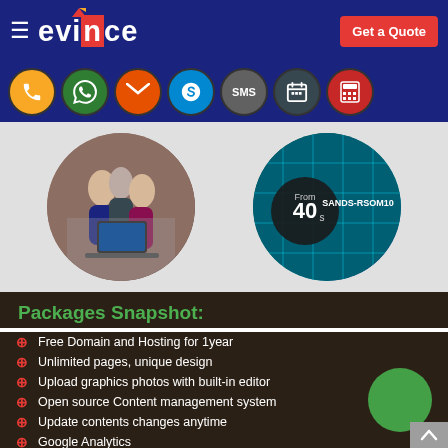evince | Get a Quote
[Figure (infographic): Navigation icon bar with phone, WhatsApp, email, Skype, SMS, calendar, and calculator icons on dark blue background]
[Figure (photo): Two circular images: left shows business professionals looking at a laptop, right shows circuit board with 'From 40s SANDS-RSOM10' text overlay]
Packages Snapshot:
Free Domain and Hosting for 1year
Unlimited pages, unique design
Upload graphics photos with built-in editor
Open source Content management system
Update contents changes anytime
Google Analytics
No more expensive bills for maintenance